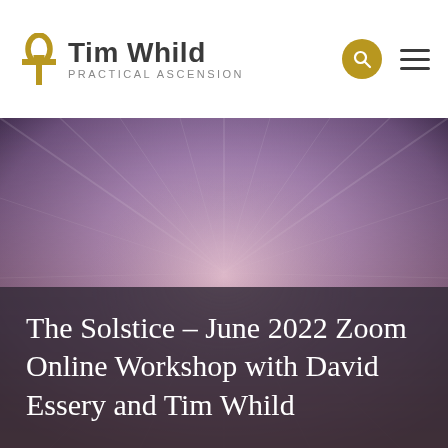Tim Whild — PRACTICAL ASCENSION
[Figure (photo): Abstract purple/lavender background with radiant light rays emanating from a center point, creating a sunburst effect on a dark background]
The Solstice – June 2022 Zoom Online Workshop with David Essery and Tim Whild